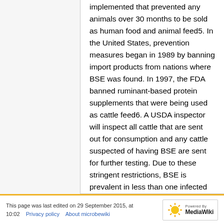implemented that prevented any animals over 30 months to be sold as human food and animal feed5. In the United States, prevention measures began in 1989 by banning import products from nations where BSE was found. In 1997, the FDA banned ruminant-based protein supplements that were being used as cattle feed6. A USDA inspector will inspect all cattle that are sent out for consumption and any cattle suspected of having BSE are sent for further testing. Due to these stringent restrictions, BSE is prevalent in less than one infected cattle per 1 million. The largest known epidemic of mad cow disease occurred in England. 177 people died after contracting variant Creutzfeldt-Jakob disease, which is believed to have been caused by eating cattle infected with BSE. In 1992 and 1993, 36,680 and 34,370 cattle died due to this disease7. In 2006, a 10 year ban on British beef was finally removed to allow for importation of British beef.
This page was last edited on 29 September 2015, at 10:02 · Privacy policy · About microbewiki